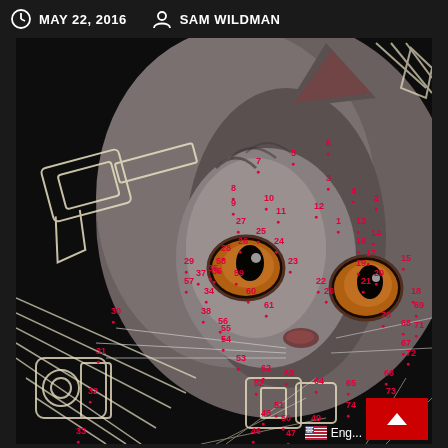MAY 22, 2016  SAM WILDMAN
[Figure (photo): A close-up photo of a gray tabby cat with orange eyes, overlaid with manga/comic-style line art drawings and a red dot-to-dot puzzle with numbers 1 through 74 scattered across the image.]